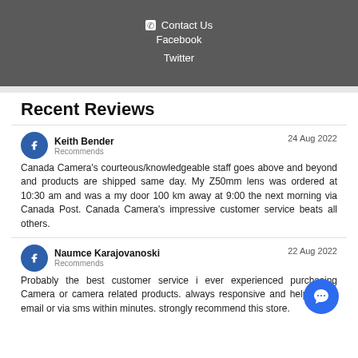✆ Contact Us
Facebook
Twitter
Recent Reviews
Keith Bender — 24 Aug 2022 — Recommends
Canada Camera's courteous/knowledgeable staff goes above and beyond and products are shipped same day. My Z50mm lens was ordered at 10:30 am and was a my door 100 km away at 9:00 the next morning via Canada Post. Canada Camera's impressive customer service beats all others.
Naumce Karajovanoski — 22 Aug 2022 — Recommends
Probably the best customer service i ever experienced purchasing Camera or camera related products. always responsive and helpful, via email or via sms within minutes. strongly recommend this store.